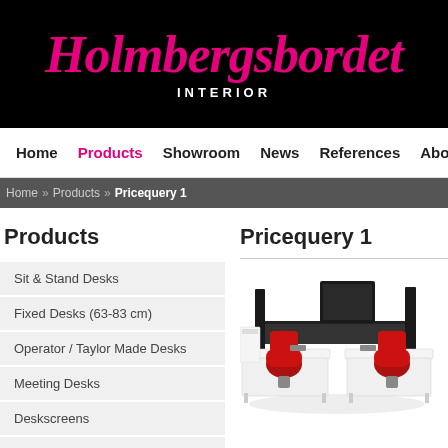Holmbergsbordet INTERIOR
Home  Products  Showroom  News  References  About us
Home » Products » Pricequery 1
Products
Sit & Stand Desks
Fixed Desks (63-83 cm)
Operator / Taylor Made Desks
Meeting Desks
Deskscreens
Floorscreens
Wall absorbers
Pricequery 1
[Figure (photo): Office furniture setup with desks, chairs, and screens in black, white, and red colors]